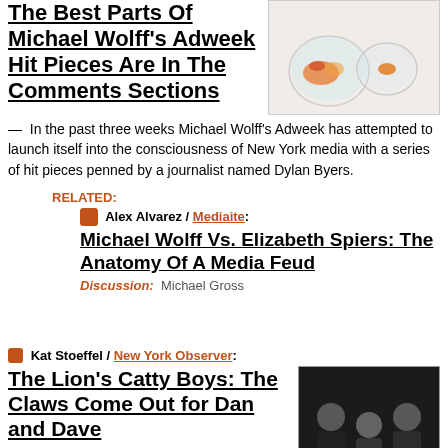The Best Parts Of Michael Wolff's Adweek Hit Pieces Are In The Comments Sections
[Figure (photo): Two glass fishbowls, one containing colorful fish]
— In the past three weeks Michael Wolff's Adweek has attempted to launch itself into the consciousness of New York media with a series of hit pieces penned by a journalist named Dylan Byers.
RELATED:
Alex Alvarez / Mediaite: Michael Wolff Vs. Elizabeth Spiers: The Anatomy Of A Media Feud
Discussion: Michael Gross
Kat Stoeffel / New York Observer: The Lion's Catty Boys: The Claws Come Out for Dan and Dave — The
[Figure (photo): Three men posing together at an event]